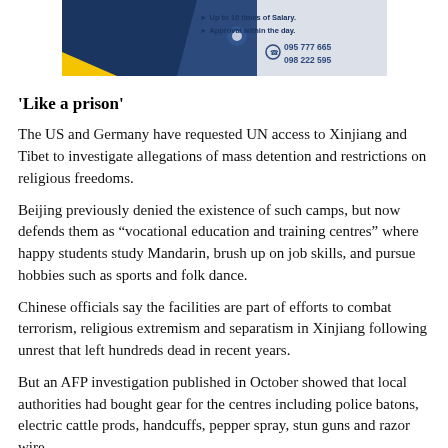[Figure (other): Advertisement banner with dark blue and yellow design showing phone numbers 095 777 665 and 098 222 595, with text about salary and approval]
‘Like a prison’
The US and Germany have requested UN access to Xinjiang and Tibet to investigate allegations of mass detention and restrictions on religious freedoms.
Beijing previously denied the existence of such camps, but now defends them as “vocational education and training centres” where happy students study Mandarin, brush up on job skills, and pursue hobbies such as sports and folk dance.
Chinese officials say the facilities are part of efforts to combat terrorism, religious extremism and separatism in Xinjiang following unrest that left hundreds dead in recent years.
But an AFP investigation published in October showed that local authorities had bought gear for the centres including police batons, electric cattle prods, handcuffs, pepper spray, stun guns and razor wire.
The centres should “teach like a school, be managed like the military, and be defended like a prison” said one official